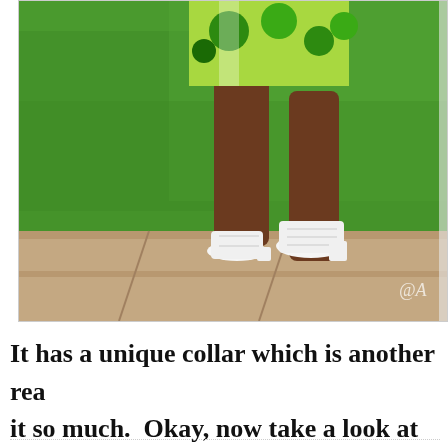[Figure (photo): A child wearing a green floral dress and white sandals, walking on a wooden boardwalk with green grass in the background. A partial watermark '@' is visible in the lower right corner of the photo.]
It has a unique collar which is another rea
it so much.  Okay, now take a look at the s
choose which pair goes better with the dre